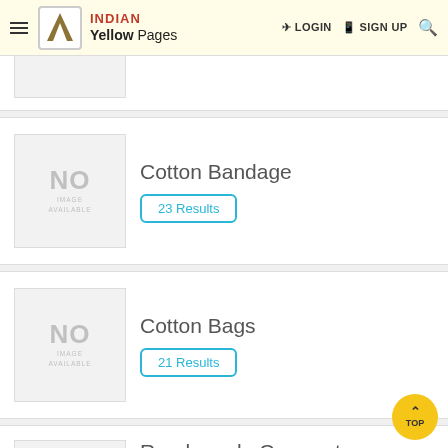INDIAN Yellow Pages | LOGIN | SIGN UP
[Figure (screenshot): No image available placeholder box for a product listing (top partial, partially visible)]
[Figure (screenshot): No image available placeholder box for Cotton Bandage listing]
Cotton Bandage
23 Results
[Figure (screenshot): No image available placeholder box for Cotton Bags listing]
Cotton Bags
21 Results
[Figure (screenshot): No image available placeholder box for Readymade Garments listing (partially visible)]
Readymade Garments